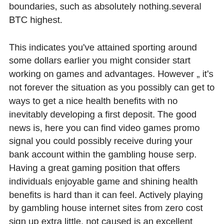boundaries, such as absolutely nothing.several BTC highest.
This indicates you've attained sporting around some dollars earlier you might consider start working on games and advantages. However „ it's not forever the situation as you possibly can get to ways to get a nice health benefits with no inevitably developing a first deposit. The good news is, here you can find video games promo signal you could possibly receive during your bank account within the gambling house serp. Having a great gaming position that offers individuals enjoyable game and shining health benefits is hard than it can feel. Actively playing by gambling house internet sites from zero cost sign up extra little, not caused is an excellent probability of a